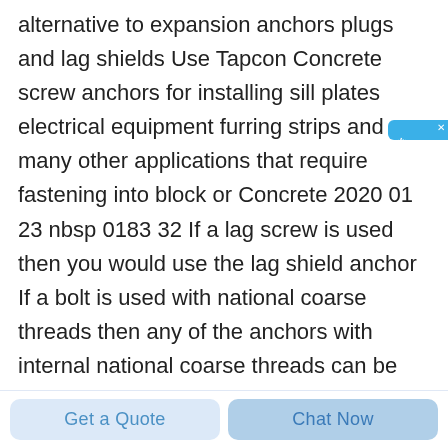alternative to expansion anchors plugs and lag shields Use Tapcon Concrete screw anchors for installing sill plates electrical equipment furring strips and many other applications that require fastening into block or Concrete 2020 01 23 nbsp 0183 32 If a lag screw is used then you would use the lag shield anchor If a bolt is used with national coarse threads then any of the anchors with internal national coarse threads can be used Some anchors require a setting tool to be used to set the anchor into the base material These types of
[Figure (other): Chinese live chat widget button on right side with text '在线咨询' (online consultation) and a close X button, styled in blue]
Get a Quote
Chat Now